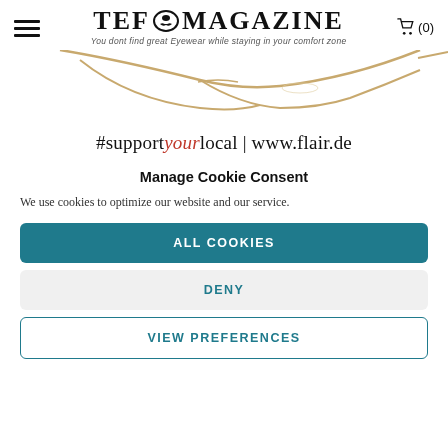TEF MAGAZINE — You dont find great Eyewear while staying in your comfort zone
[Figure (photo): Partial view of rimless gold eyeglasses from above on white background]
#supportyourlocal | www.flair.de
Manage Cookie Consent
We use cookies to optimize our website and our service.
ALL COOKIES
DENY
VIEW PREFERENCES